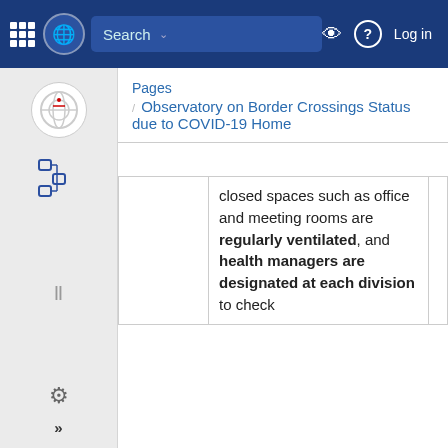Search | Log in — UN navigation bar
Pages / Observatory on Border Crossings Status due to COVID-19 Home
|  |  |  |
| --- | --- | --- |
|  | closed spaces such as office and meeting rooms are regularly ventilated, and health managers are designated at each division to check |  |